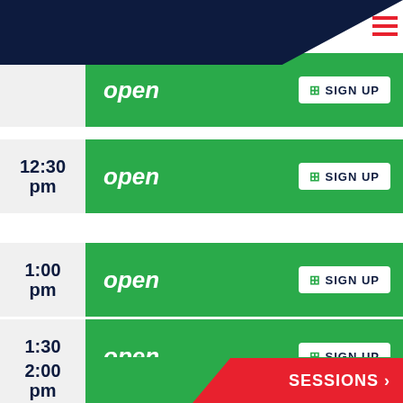INCOMPARABLE CAMP OZARK
open — SIGN UP
12:30 pm — open — SIGN UP
1:00 pm — open — SIGN UP
1:30 pm — open — SIGN UP
2:00 pm
SESSIONS >